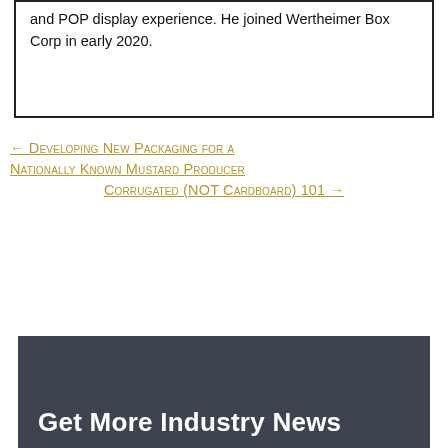and POP display experience. He joined Wertheimer Box Corp in early 2020.
← Developing New Packaging for a Nationally Known Mustard Producer
Corrugated (NOT Cardboard) 101 →
Get More Industry News